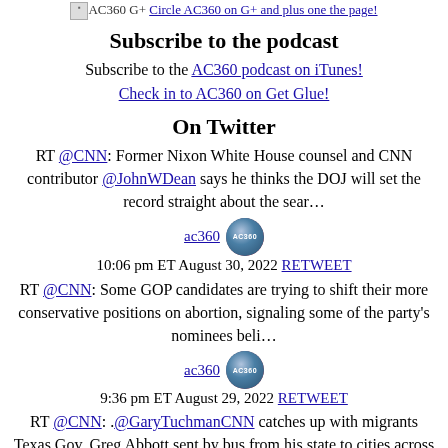AC360 G+ Circle AC360 on G+ and plus one the page!
Subscribe to the podcast
Subscribe to the AC360 podcast on iTunes!
Check in to AC360 on Get Glue!
On Twitter
RT @CNN: Former Nixon White House counsel and CNN contributor @JohnWDean says he thinks the DOJ will set the record straight about the sear…
ac360  10:06 pm ET August 30, 2022 RETWEET
RT @CNN: Some GOP candidates are trying to shift their more conservative positions on abortion, signaling some of the party's nominees beli…
ac360  9:36 pm ET August 29, 2022 RETWEET
RT @CNN: .@GaryTuchmanCNN catches up with migrants Texas Gov. Greg Abbott sent by bus from his state to cities across the US to highlight h…